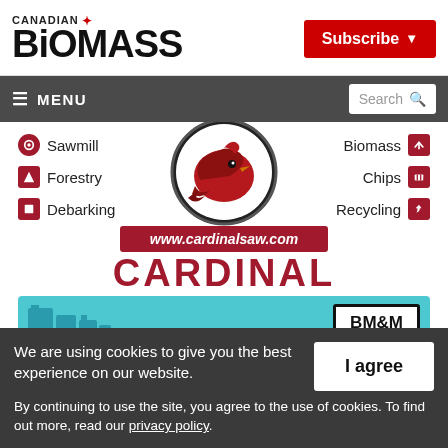CANADIAN BIOMASS
Subscribe
≡ MENU
Search
[Figure (advertisement): Cardinal Saw advertisement showing categories: Sawmill, Forestry, Debarking, Biomass, Chips, Recycling. Cardinal bird logo in center circle. URL www.cardinalsaw.com shown in red bar. CARDINAL text in large red letters. BM&M equipment banner at bottom.]
We are using cookies to give you the best experience on our website.
By continuing to use the site, you agree to the use of cookies.
To find out more, read our privacy policy.
I agree